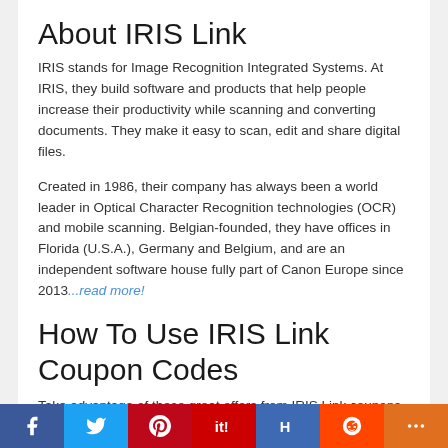About IRIS Link
IRIS stands for Image Recognition Integrated Systems. At IRIS, they build software and products that help people increase their productivity while scanning and converting documents. They make it easy to scan, edit and share digital files.
Created in 1986, their company has always been a world leader in Optical Character Recognition technologies (OCR) and mobile scanning. Belgian-founded, they have offices in Florida (U.S.A.), Germany and Belgium, and are an independent software house fully part of Canon Europe since 2013...read more!
How To Use IRIS Link Coupon Codes
Take advantage of these great offers from IRIS Link coupons, discount, promo codes & deals in Aug 2022. To get
f  t  P  it!  H  reddit  +